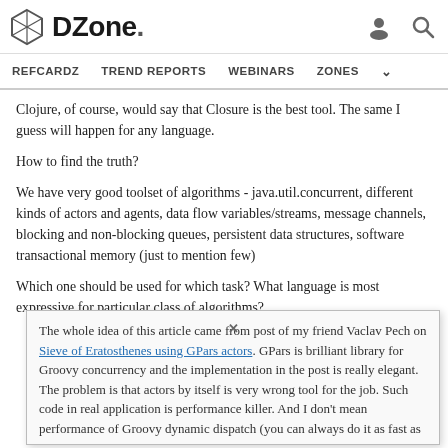DZone. | REFCARDZ  TREND REPORTS  WEBINARS  ZONES
Clojure, of course, would say that Closure is the best tool. The same I guess will happen for any language.
How to find the truth?
We have very good toolset of algorithms - java.util.concurrent, different kinds of actors and agents, data flow variables/streams, message channels, blocking and non-blocking queues, persistent data structures, software transactional memory (just to mention few)
Which one should be used for which task? What language is most expressive for particular class of algorithms?
The whole idea of this article came from post of my friend Vaclav Pech on Sieve of Eratosthenes using GPars actors. GPars is brilliant library for Groovy concurrency and the implementation in the post is really elegant. The problem is that actors by itself is very wrong tool for the job. Such code in real application is performance killer. And I don't mean performance of Groovy dynamic dispatch (you can always do it as fast as